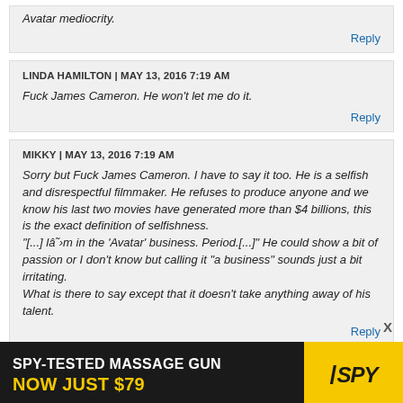Avatar mediocrity.
Reply
LINDA HAMILTON | MAY 13, 2016 7:19 AM
Fuck James Cameron. He won't let me do it.
Reply
MIKKY | MAY 13, 2016 7:19 AM
Sorry but Fuck James Cameron. I have to say it too. He is a selfish and disrespectful filmmaker. He refuses to produce anyone and we know his last two movies have generated more than $4 billions, this is the exact definition of selfishness.
"[...] lâm in the 'Avatar' business. Period.[...]" He could show a bit of passion or I don't know but calling it "a business" sounds just a bit irritating.
What is there to say except that it doesn't take anything away of his talent.
Reply
[Figure (other): Advertisement banner: SPY-TESTED MASSAGE GUN / NOW JUST $79 with SPY logo on yellow background]